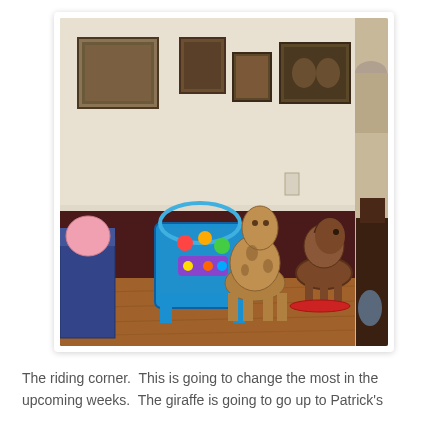[Figure (photo): Indoor room corner with wooden floor, dark wainscoting on lower walls, framed pictures on upper walls, baby activity center toy, stuffed giraffe ride-on toy, and a rocking horse in the background.]
The riding corner.  This is going to change the most in the upcoming weeks.  The giraffe is going to go up to Patrick's